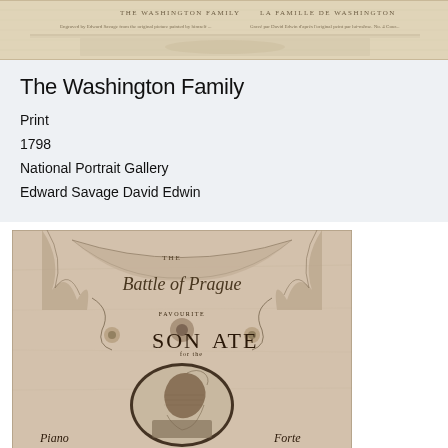[Figure (illustration): Antique print titled 'The Washington Family' / 'La Famille de Washington', engraving with text headers on aged paper background]
The Washington Family
Print
1798
National Portrait Gallery
Edward Savage David Edwin
[Figure (illustration): Antique illustrated title page for 'The Battle of Prague - Favourite Sonata for the Piano Forte', featuring decorative drapery, floral motifs, and an oval portrait of a man in profile]